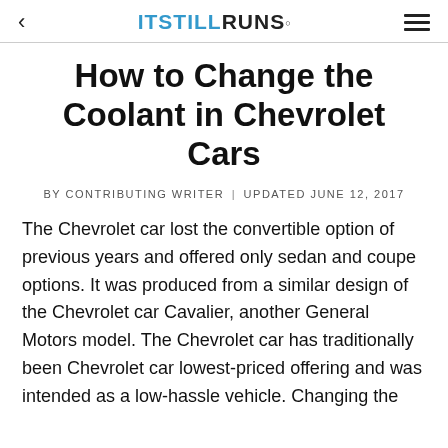ITSTILLRUNS.
How to Change the Coolant in Chevrolet Cars
BY CONTRIBUTING WRITER | UPDATED JUNE 12, 2017
The Chevrolet car lost the convertible option of previous years and offered only sedan and coupe options. It was produced from a similar design of the Chevrolet car Cavalier, another General Motors model. The Chevrolet car has traditionally been Chevrolet car lowest-priced offering and was intended as a low-hassle vehicle. Changing the